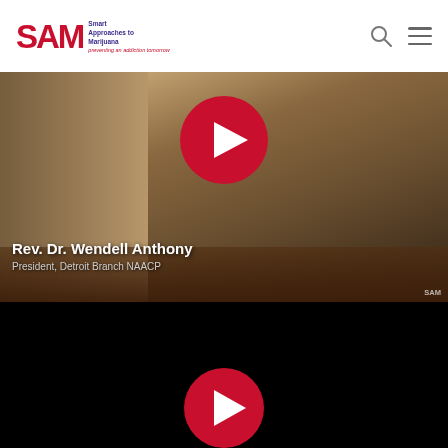[Figure (logo): SAM - Smart Approaches to Marijuana logo with red SAM text and purple tagline text]
[Figure (screenshot): Video thumbnail of Rev. Dr. Wendell Anthony, President Detroit Branch NAACP, seated at desk with hands clasped, tan/brown background, with a red circular play button overlay]
Rev. Dr. Wendell Anthony
President, Detroit Branch NAACP
[Figure (screenshot): Second video thumbnail - black/dark background with red circular play button partially visible at bottom, video content not visible]